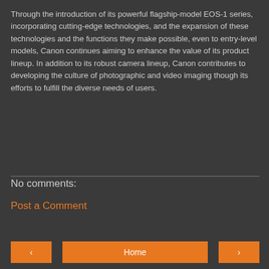Through the introduction of its powerful flagship-model EOS-1 series, incorporating cutting-edge technologies, and the expansion of these technologies and the functions they make possible, even to entry-level models, Canon continues aiming to enhance the value of its product lineup. In addition to its robust camera lineup, Canon contributes to developing the culture of photographic and video imaging though its efforts to fulfill the diverse needs of users.
Share
No comments:
Post a Comment
< Home >